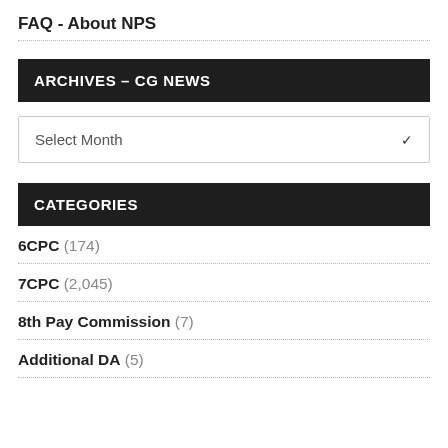FAQ - About NPS
ARCHIVES – CG NEWS
Select Month
CATEGORIES
6CPC (174)
7CPC (2,045)
8th Pay Commission (7)
Additional DA (5)